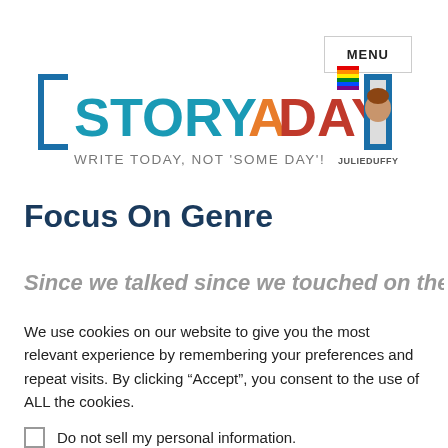MENU
[Figure (logo): StoryADay logo with bracket icons, colorful text reading STORY A DAY, tagline WRITE TODAY, NOT 'SOME DAY'!, with a photo of Julie Duffy and a small pride flag]
Focus On Genre
Since we talked since we touched on the
We use cookies on our website to give you the most relevant experience by remembering your preferences and repeat visits. By clicking “Accept”, you consent to the use of ALL the cookies.
Do not sell my personal information.
Cookie Settings  Accept